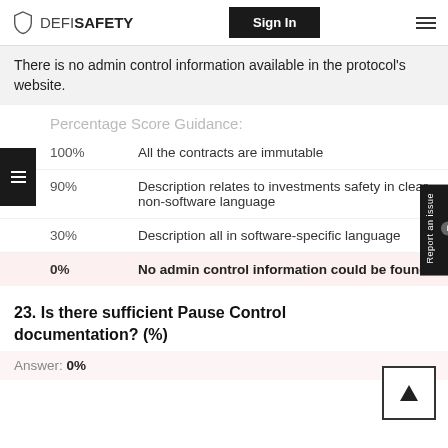DEFISAFETY | Sign In
There is no admin control information available in the protocol's website.
Percentage Score Guidance:
| Score | Description |
| --- | --- |
| 100% | All the contracts are immutable |
| 90% | Description relates to investments safety in clear non-software language |
| 30% | Description all in software-specific language |
| 0% | No admin control information could be found |
23. Is there sufficient Pause Control documentation? (%)
Answer: 0%